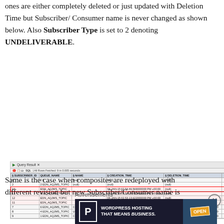ones are either completely deleted or just updated with Deletion Time but Subscriber/ Consumer name is never changed as shown below. Also Subscriber Type is set to 2 denoting UNDELIVERABLE.
[Figure (screenshot): SQL query result showing a database table with columns SUBSCRIBER_ID, QUEUE_NAME, NAME, CREATION_TIME, DELETION_TIME. Contains 9 rows of data with some rows highlighted in red boxes showing active subscribers and rows 7-9 showing deletion times. Some NAME cells are highlighted in blue.]
Same is the case when composites are redeployed with different revision but new Subscriber/Consumer name is
Advertisements
[Figure (infographic): WordPress Hosting advertisement banner with P logo and OPEN sign photo. Text reads WORDPRESS HOSTING THAT MEANS BUSINESS.]